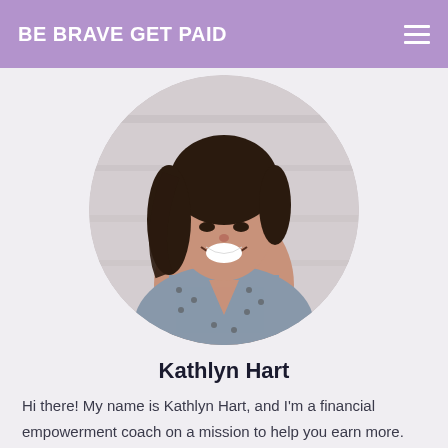BE BRAVE GET PAID
[Figure (photo): Circular cropped portrait photo of Kathlyn Hart, a young woman with dark hair, smiling broadly, wearing a sleeveless patterned top, photographed against a concrete wall background.]
Kathlyn Hart
Hi there! My name is Kathlyn Hart, and I'm a financial empowerment coach on a mission to help you earn more.